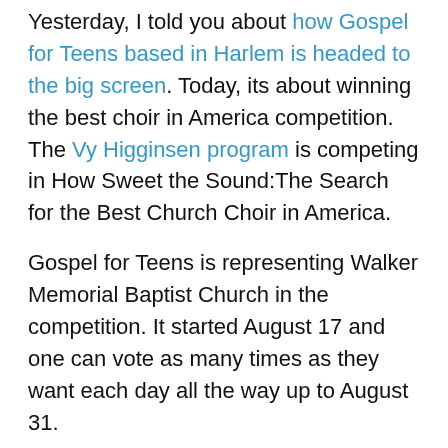Yesterday, I told you about how Gospel for Teens based in Harlem is headed to the big screen. Today, its about winning the best choir in America competition. The Vy Higginsen program is competing in How Sweet the Sound:The Search for the Best Church Choir in America.
Gospel for Teens is representing Walker Memorial Baptist Church in the competition. It started August 17 and one can vote as many times as they want each day all the way up to August 31.
How can you vote for Gospel for Teens Harlem? Follow these steps:
1. Click on this link which will take you to How Sweet the Sound choir competition
2. Sign up
3. Then click on the Washington, DC Market (The